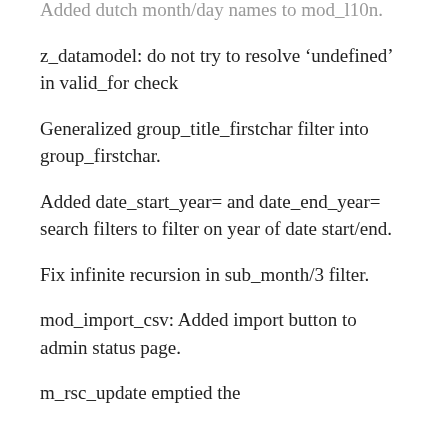Added dutch month/day names to mod_l10n.
z_datamodel: do not try to resolve ‘undefined’ in valid_for check
Generalized group_title_firstchar filter into group_firstchar.
Added date_start_year= and date_end_year= search filters to filter on year of date start/end.
Fix infinite recursion in sub_month/3 filter.
mod_import_csv: Added import button to admin status page.
m_rsc_update emptied the